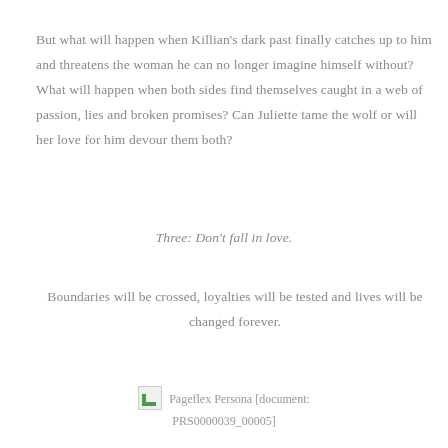But what will happen when Killian’s dark past finally catches up to him and threatens the woman he can no longer imagine himself without? What will happen when both sides find themselves caught in a web of passion, lies and broken promises? Can Juliette tame the wolf or will her love for him devour them both?
Three: Don’t fall in love.
Boundaries will be crossed, loyalties will be tested and lives will be changed forever.
[Figure (other): Pageflex Persona document image placeholder with broken image icon]
Pageflex Persona [document: PRS0000039_00005]